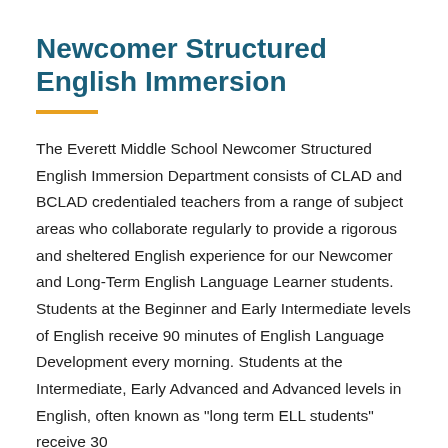Newcomer Structured English Immersion
The Everett Middle School Newcomer Structured English Immersion Department consists of CLAD and BCLAD credentialed teachers from a range of subject areas who collaborate regularly to provide a rigorous and sheltered English experience for our Newcomer and Long-Term English Language Learner students. Students at the Beginner and Early Intermediate levels of English receive 90 minutes of English Language Development every morning. Students at the Intermediate, Early Advanced and Advanced levels in English, often known as "long term ELL students" receive 30